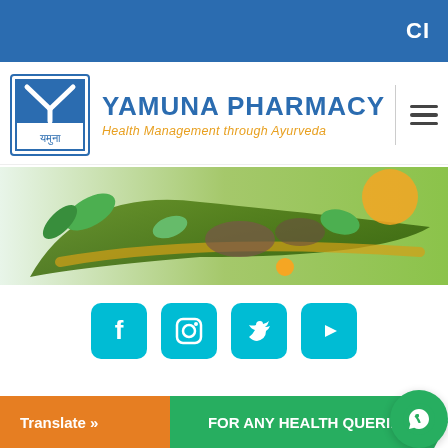CI
[Figure (logo): Yamuna Pharmacy logo with stylized Y symbol and Hindi text]
YAMUNA PHARMACY
Health Management through Ayurveda
[Figure (photo): Ayurvedic herbs and plants banner image with green leaves and spices]
[Figure (infographic): Social media icons row: Facebook, Instagram, Twitter, YouTube - all in teal/cyan color]
Home / capsules / Azaragi Extule – (Best ayurvedic &
Translate »
FOR ANY HEALTH QUERIES